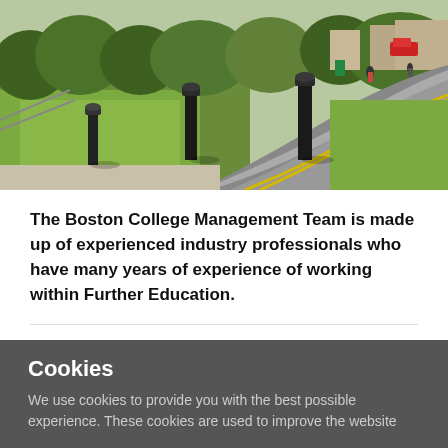[Figure (photo): Outdoor photo of a college campus road with black bollards on a grass verge, a curved road with yellow lines, trees and buildings in the background, people visible in the distance on a sunny day.]
The Boston College Management Team is made up of experienced industry professionals who have many years of experience of working within Further Education.
Boston College Management Structure
Cookies
We use cookies to provide you with the best possible experience. These cookies are used to improve the website